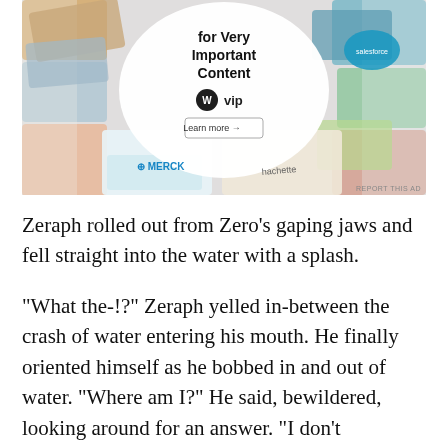[Figure (advertisement): WordPress VIP advertisement showing 'for Very Important Content' with WP VIP logo and 'Learn more' button, surrounded by brand logos including Merck, Hachette, and others on colorful cards]
REPORT THIS AD
Zeraph rolled out from Zero’s gaping jaws and fell straight into the water with a splash.
“What the-!?” Zeraph yelled in-between the crash of water entering his mouth. He finally oriented himself as he bobbed in and out of water. “Where am I?” He said, bewildered, looking around for an answer. “I don’t remember logging out here.”